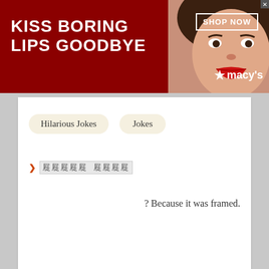[Figure (screenshot): Macy's advertisement banner: 'KISS BORING LIPS GOODBYE' with woman's face and red lips, SHOP NOW button, Macy's logo]
Hilarious Jokes
Jokes
?????????????????? (placeholder/corrupted text link)
? Because it was framed.
[Figure (screenshot): BoConcept advertisement: 'AMAZING DEALS' text center, 'EKSTRAORDINÆR' on the left, 'BoConcept LIVE EKSTRAORDINÆR' on the right, gradient background from red to yellow]